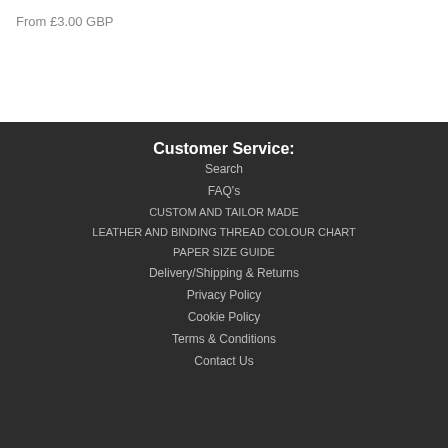From £3.00 GBP
Customer Service:
Search
FAQ's
CUSTOM AND TAILOR MADE
LEATHER AND BINDING THREAD COLOUR CHART
PAPER SIZE GUIDE
Delivery/Shipping & Returns
Privacy Policy
Cookie Policy
Terms & Conditions
Contact Us